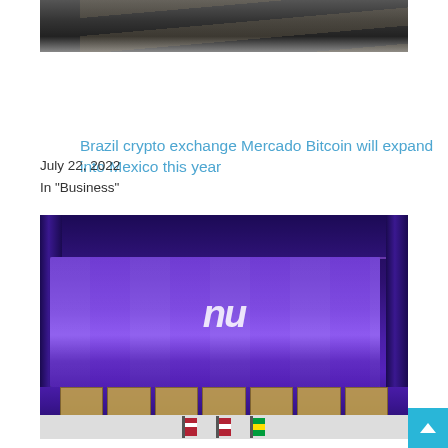[Figure (photo): Partial top of a photo showing dark interior with light rays, appears to be a ceiling or architectural interior]
Brazil crypto exchange Mercado Bitcoin will expand into Mexico this year
July 22, 2022
In "Business"
[Figure (photo): Photo of a large building (New York Stock Exchange-style) decorated with a large purple "nu" banner/logo, with flags including a Brazilian flag, lit with purple lighting at night]